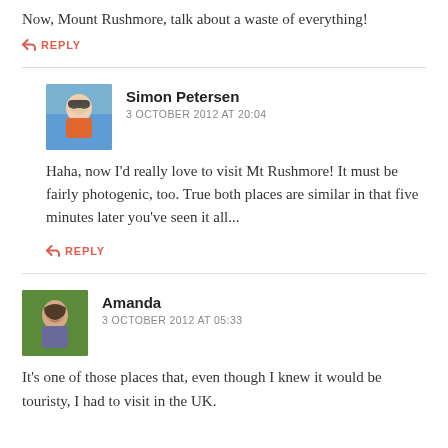Now, Mount Rushmore, talk about a waste of everything!
↩ REPLY
Simon Petersen
3 OCTOBER 2012 AT 20:04
Haha, now I'd really love to visit Mt Rushmore! It must be fairly photogenic, too. True both places are similar in that five minutes later you've seen it all...
↩ REPLY
Amanda
3 OCTOBER 2012 AT 05:33
It's one of those places that, even though I knew it would be touristy, I had to visit in the UK.